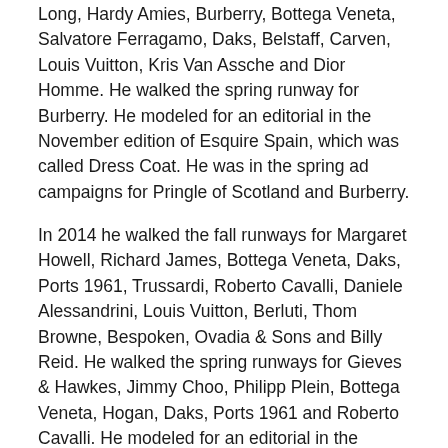Long, Hardy Amies, Burberry, Bottega Veneta, Salvatore Ferragamo, Daks, Belstaff, Carven, Louis Vuitton, Kris Van Assche and Dior Homme. He walked the spring runway for Burberry. He modeled for an editorial in the November edition of Esquire Spain, which was called Dress Coat. He was in the spring ad campaigns for Pringle of Scotland and Burberry.
In 2014 he walked the fall runways for Margaret Howell, Richard James, Bottega Veneta, Daks, Ports 1961, Trussardi, Roberto Cavalli, Daniele Alessandrini, Louis Vuitton, Berluti, Thom Browne, Bespoken, Ovadia & Sons and Billy Reid. He walked the spring runways for Gieves & Hawkes, Jimmy Choo, Philipp Plein, Bottega Veneta, Hogan, Daks, Ports 1961 and Roberto Cavalli. He modeled for an editorial in the spring edition of Hero Magazine, which was called Alexander Wang. He modeled for an editorial in the April edition of Madame Figaro, which was called Chic Team. He modeled for an editorial in the fall edition of DSECTION Magazine, which was